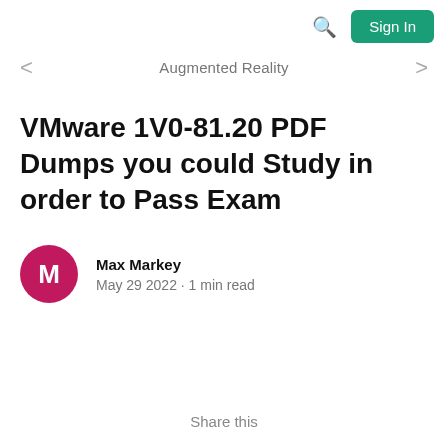Sign In
Augmented Reality
VMware 1V0-81.20 PDF Dumps you could Study in order to Pass Exam
Max Markey
May 29 2022 · 1 min read
Share this